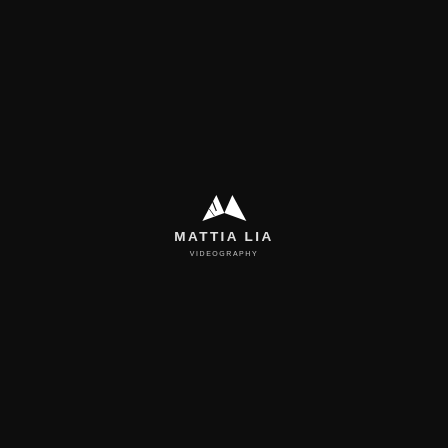[Figure (logo): Mattia Lia Videography logo: two white triangles forming an M shape above the text MATTIA LIA in bold spaced capitals and VIDEOGRAPHY in smaller spaced letters, all on a black background.]